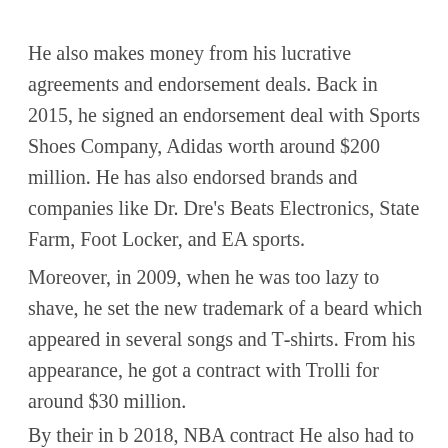He also makes money from his lucrative agreements and endorsement deals. Back in 2015, he signed an endorsement deal with Sports Shoes Company, Adidas worth around $200 million. He has also endorsed brands and companies like Dr. Dre's Beats Electronics, State Farm, Foot Locker, and EA sports.
Moreover, in 2009, when he was too lazy to shave, he set the new trademark of a beard which appeared in several songs and T-shirts. From his appearance, he got a contract with Trolli for around $30 million.
By their in b 2018, NBA contract He also had to